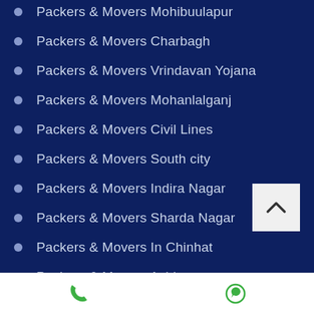Packers & Movers Mohibuulapur
Packers & Movers Charbagh
Packers & Movers Vrindavan Yojana
Packers & Movers Mohanlalganj
Packers & Movers Civil Lines
Packers & Movers South city
Packers & Movers Indira Nagar
Packers & Movers Sharda Nagar
Packers & Movers In Chinhat
Packers & Movers Ashiyana
Packers & Movers Sikanderpur Khurd
Phone | WhatsApp